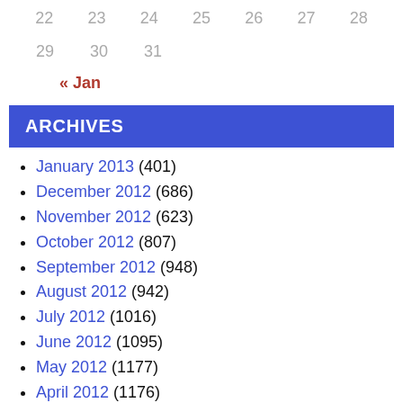22  23  24  25  26  27  28
29  30  31
« Jan
ARCHIVES
January 2013 (401)
December 2012 (686)
November 2012 (623)
October 2012 (807)
September 2012 (948)
August 2012 (942)
July 2012 (1016)
June 2012 (1095)
May 2012 (1177)
April 2012 (1176)
March 2012 (1284)
February 2012 (1272)
January 2012 (1653)
December 2011 (1412)